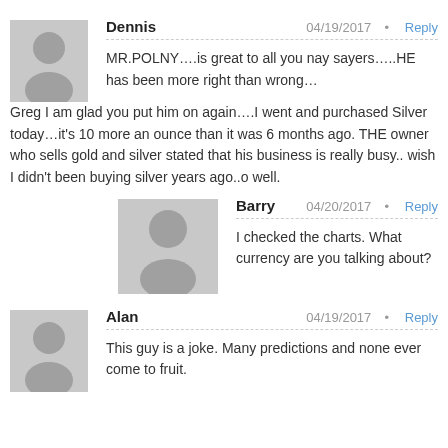Dennis  04/19/2017 · Reply
MR.POLNY….is great to all you nay sayers…..HE has been more right than wrong…Greg I am glad you put him on again….I went and purchased Silver today…it's 10 more an ounce than it was 6 months ago. THE owner who sells gold and silver stated that his business is really busy.. wish I didn't been buying silver years ago..o well.
Barry  04/20/2017 · Reply
I checked the charts. What currency are you talking about?
Alan  04/19/2017 · Reply
This guy is a joke. Many predictions and none ever come to fruit.